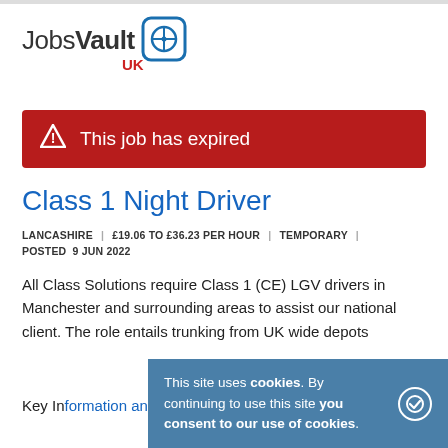[Figure (logo): JobsVault UK logo with compass icon in a rounded square]
This job has expired
Class 1 Night Driver
LANCASHIRE | £19.06 TO £36.23 PER HOUR | TEMPORARY | POSTED 9 JUN 2022
All Class Solutions require Class 1 (CE) LGV drivers in Manchester and surrounding areas to assist our national client. The role entails trunking from UK wide depots
Key Information and Benefits:
This site uses cookies. By continuing to use this site you consent to our use of cookies.